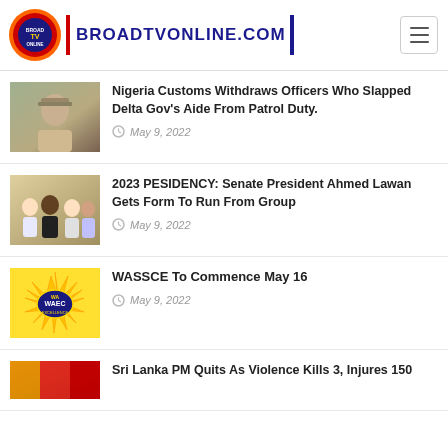BROADTVONLINE.COM
Nigeria Customs Withdraws Officers Who Slapped Delta Gov's Aide From Patrol Duty. — May 9, 2022
2023 PESIDENCY: Senate President Ahmed Lawan Gets Form To Run From Group — May 9, 2022
WASSCE To Commence May 16 — May 9, 2022
Sri Lanka PM Quits As Violence Kills 3, Injures 150